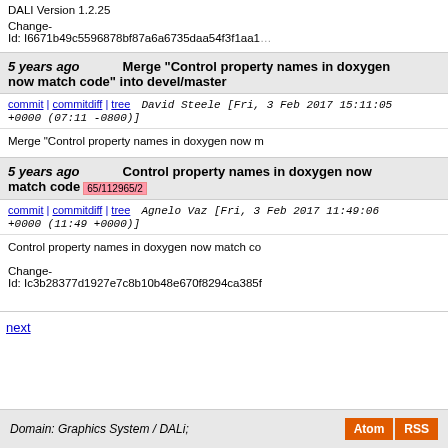DALI Version 1.2.25
Change-Id: I6671b49c5596878bf87a6a6735daa54f3f1aa1...
5 years ago   Merge "Control property names in doxygen now match code" into devel/master
commit | commitdiff | tree   David Steele [Fri, 3 Feb 2017 15:11:05 +0000 (07:11 -0800)]
Merge "Control property names in doxygen now m...
5 years ago   Control property names in doxygen now match code  65/112965/2
commit | commitdiff | tree   Agnelo Vaz [Fri, 3 Feb 2017 11:49:06 +0000 (11:49 +0000)]
Control property names in doxygen now match co...
Change-Id: Ic3b28377d1927e7c8b10b48e670f8294ca385f...
next
Domain: Graphics System / DALi;